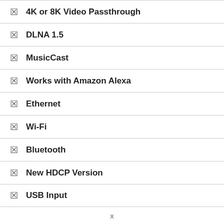4K or 8K Video Passthrough
DLNA 1.5
MusicCast
Works with Amazon Alexa
Ethernet
Wi-Fi
Bluetooth
New HDCP Version
USB Input